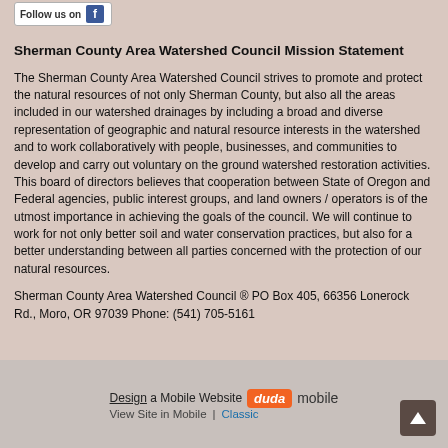[Figure (logo): Follow us on Facebook button with blue Facebook icon]
Sherman County Area Watershed Council Mission Statement
The Sherman County Area Watershed Council strives to promote and protect the natural resources of not only Sherman County, but also all the areas included in our watershed drainages by including a broad and diverse representation of geographic and natural resource interests in the watershed and to work collaboratively with people, businesses, and communities to develop and carry out voluntary on the ground watershed restoration activities. This board of directors believes that cooperation between State of Oregon and Federal agencies, public interest groups, and land owners / operators is of the utmost importance in achieving the goals of the council. We will continue to work for not only better soil and water conservation practices, but also for a better understanding between all parties concerned with the protection of our natural resources.
Sherman County Area Watershed Council ® PO Box 405, 66356 Lonerock Rd., Moro, OR 97039 Phone: (541) 705-5161
Design a Mobile Website  duda mobile  View Site in Mobile | Classic